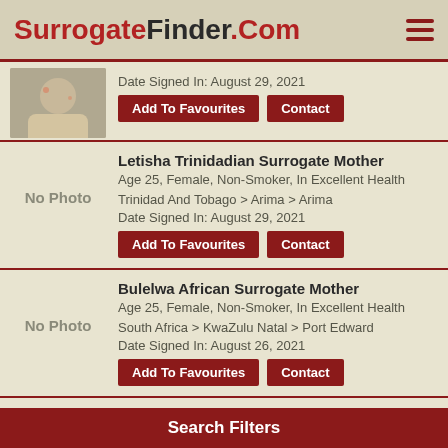SurrogateFinder.Com
Date Signed In: August 29, 2021
Letisha Trinidadian Surrogate Mother
Age 25, Female, Non-Smoker, In Excellent Health
Trinidad And Tobago > Arima > Arima
Date Signed In: August 29, 2021
Bulelwa African Surrogate Mother
Age 25, Female, Non-Smoker, In Excellent Health
South Africa > KwaZulu Natal > Port Edward
Date Signed In: August 26, 2021
Pumza African Surrogate Mother
Age 25, Female, Non-Smoker, In Excellent Health
Search Filters